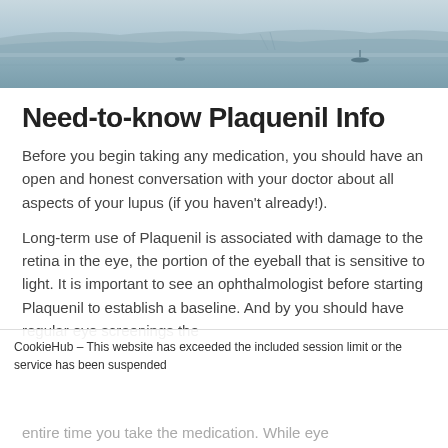[Figure (photo): Banner image of a misty lake or coastal scene with mountains in the background and a small boat visible on the water, in muted blue-grey tones.]
Need-to-know Plaquenil Info
Before you begin taking any medication, you should have an open and honest conversation with your doctor about all aspects of your lupus (if you haven't already!).
Long-term use of Plaquenil is associated with damage to the retina in the eye, the portion of the eyeball that is sensitive to light. It is important to see an ophthalmologist before starting Plaquenil to establish a baseline. And by you should have regular eye screenings the entire time you take the medication. While eye
CookieHub – This website has exceeded the included session limit or the service has been suspended